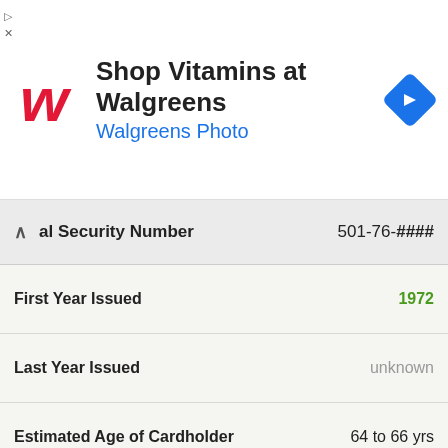[Figure (screenshot): Walgreens advertisement banner: logo, 'Shop Vitamins at Walgreens', 'Walgreens Photo', navigation arrow icon]
| Field | Value |
| --- | --- |
| al Security Number | 501-76-#### |
| First Year Issued | 1972 |
| Last Year Issued | unknown |
| Estimated Age of Cardholder | 64 to 66 yrs |
| Valid | ✓ Valid |
| Social Security Number | 501-78-#### |
| First Year Issued | 1972 |
| Last Year Issued | unknown |
| Estimated Age of Cardholder | 64 to 66 yrs |